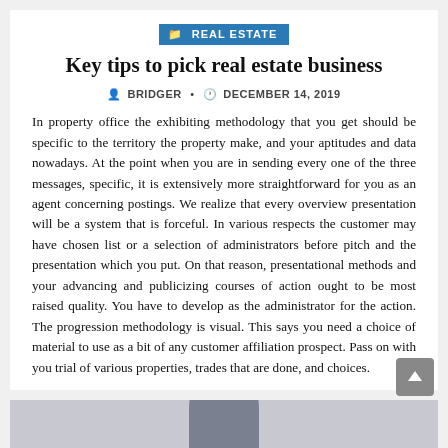REAL ESTATE
Key tips to pick real estate business
BRIDGER • DECEMBER 14, 2019
In property office the exhibiting methodology that you get should be specific to the territory the property make, and your aptitudes and data nowadays. At the point when you are in sending every one of the three messages, specific, it is extensively more straightforward for you as an agent concerning postings. We realize that every overview presentation will be a system that is forceful. In various respects the customer may have chosen list or a selection of administrators before pitch and the presentation which you put. On that reason, presentational methods and your advancing and publicizing courses of action ought to be most raised quality. You have to develop as the administrator for the action. The progression methodology is visual. This says you need a choice of material to use as a bit of any customer affiliation prospect. Pass on with you trial of various properties, trades that are done, and choices.
[Figure (photo): Partial image of a person at the bottom of the page]